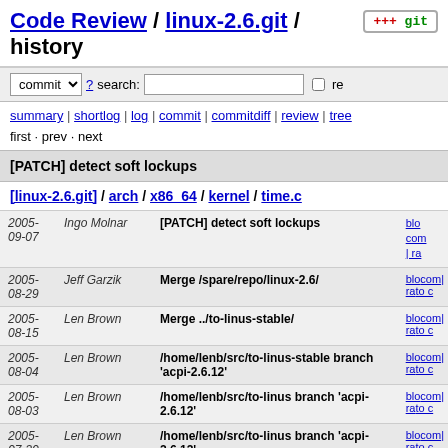Code Review / linux-2.6.git / history
commit ? search: re
summary | shortlog | log | commit | commitdiff | review | tree
first · prev · next
[PATCH] detect soft lockups
[linux-2.6.git] / arch / x86_64 / kernel / time.c
| Date | Author | Message | Links |
| --- | --- | --- | --- |
| 2005-09-07 | Ingo Molnar | [PATCH] detect soft lockups | blo
com
| ra |
| 2005-08-29 | Jeff Garzik | Merge /spare/repo/linux-2.6/ | blo
com
| ra
to c |
| 2005-08-15 | Len Brown | Merge ../to-linus-stable/ | blo
com
| ra
to c |
| 2005-08-04 | Len Brown | /home/lenb/src/to-linus-stable branch 'acpi-2.6.12' | blo
com
| ra
to c |
| 2005-08-03 | Len Brown | /home/lenb/src/to-linus branch 'acpi-2.6.12' | blo
com
| ra
to c |
| 2005-07-30 | Len Brown | /home/lenb/src/to-linus branch 'acpi-2.6.12' | blo
com
| ra
to c |
| 2005-... | Len... | /home/lenb/linux-2.6-... | blo |